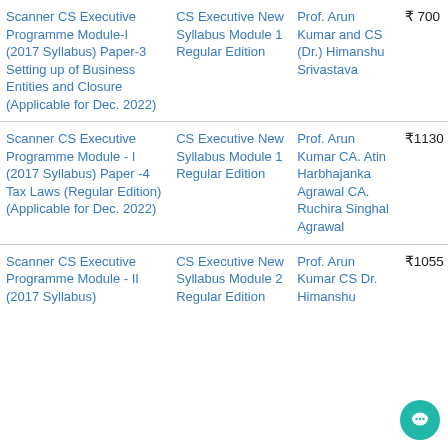| Book Name | Syllabus | Author | Price |
| --- | --- | --- | --- |
| Scanner CS Executive Programme Module-I (2017 Syllabus) Paper-3 Setting up of Business Entities and Closure (Applicable for Dec. 2022) | CS Executive New Syllabus Module 1 Regular Edition | Prof. Arun Kumar and CS (Dr.) Himanshu Srivastava | ₹700 |
| Scanner CS Executive Programme Module - I (2017 Syllabus) Paper -4 Tax Laws (Regular Edition) (Applicable for Dec. 2022) | CS Executive New Syllabus Module 1 Regular Edition | Prof. Arun Kumar CA. Atin Harbhajanka Agrawal CA. Ruchira Singhal Agrawal | ₹1130 |
| Scanner CS Executive Programme Module - II (2017 Syllabus) | CS Executive New Syllabus Module 2 Regular Edition | Prof. Arun Kumar CS Dr. Himanshu | ₹1055 |